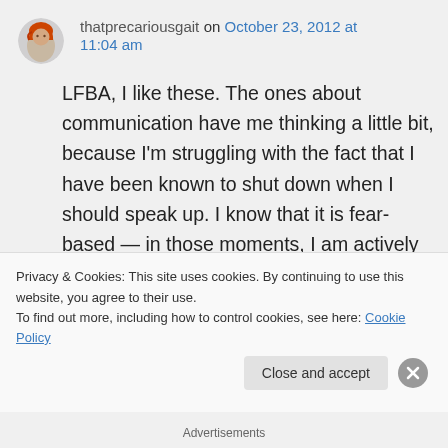[Figure (photo): Round avatar image of a person with red/orange hair]
thatprecariousgait on October 23, 2012 at 11:04 am
LFBA, I like these. The ones about communication have me thinking a little bit, because I'm struggling with the fact that I have been known to shut down when I should speak up. I know that it is fear-based — in those moments, I am actively avoiding things that I fear will hurt me. In law school, they teach us not to ask a
Privacy & Cookies: This site uses cookies. By continuing to use this website, you agree to their use.
To find out more, including how to control cookies, see here: Cookie Policy
Close and accept
Advertisements